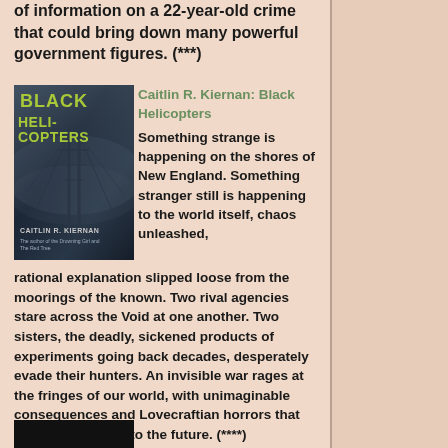of information on a 22-year-old crime that could bring down many powerful government figures. (***)
[Figure (photo): Book cover of 'Black Helicopters' by Caitlin R. Kiernan, showing a dark, moody scene with a bridge or tower structure in foggy/stormy conditions. Title text in yellow-green on dark background.]
Caitlin R. Kiernan: Black Helicopters
Something strange is happening on the shores of New England. Something stranger still is happening to the world itself, chaos unleashed, rational explanation slipped loose from the moorings of the known. Two rival agencies stare across the Void at one another. Two sisters, the deadly, sickened products of experiments going back decades, desperately evade their hunters. An invisible war rages at the fringes of our world, with unimaginable consequences and Lovecraftian horrors that ripple centuries into the future. (****)